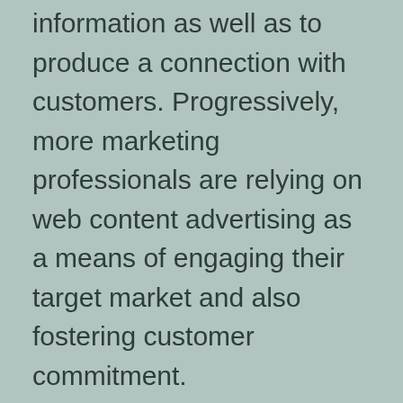information as well as to produce a connection with customers. Progressively, more marketing professionals are relying on web content advertising as a means of engaging their target market and also fostering customer commitment.
While traditional forms of advertising and marketing are still effective, electronic advertising has ended up being progressively vital. By utilizing social media sites and also various other online tools to reach a vast audience, online marketers can make their